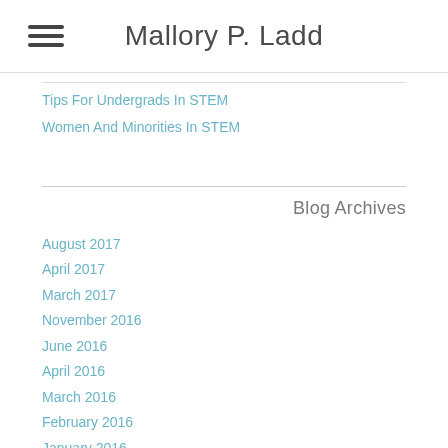Mallory P. Ladd
Tips For Undergrads In STEM
Women And Minorities In STEM
Blog Archives
August 2017
April 2017
March 2017
November 2016
June 2016
April 2016
March 2016
February 2016
January 2016
June 2015
March 2015